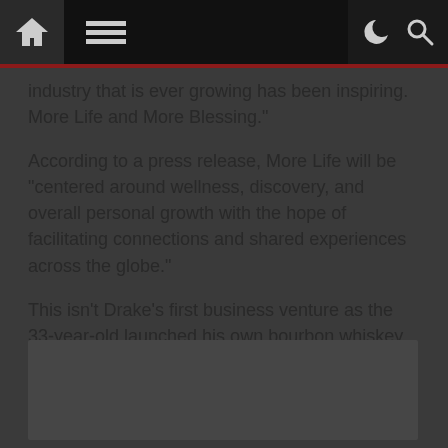Navigation bar with home, menu, dark mode, and search icons
industry that is ever growing has been inspiring. More Life and More Blessing."
According to a press release, More Life will be “centered around wellness, discovery, and overall personal growth with the hope of facilitating connections and shared experiences across the globe.”
This isn’t Drake’s first business venture as the 33-year-old launched his own bourbon whiskey brand Virginia Black back in September of 2016. Product details for More Life Growth Co. are expected to be announced in the coming weeks.